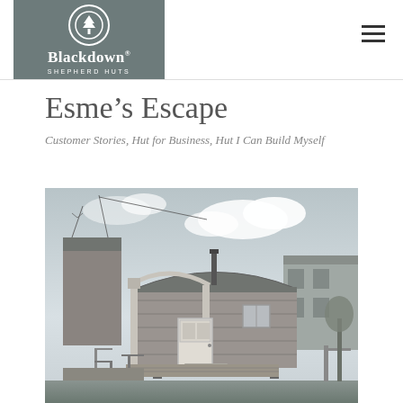Blackdown Shepherd Huts
Esme’s Escape
Customer Stories, Hut for Business, Hut I Can Build Myself
[Figure (photo): Black and white photograph of a Blackdown shepherd hut with a wooden deck, arched verandah porch, Dutch door, and a stovepipe chimney, set in a garden with a stone house visible in the background.]